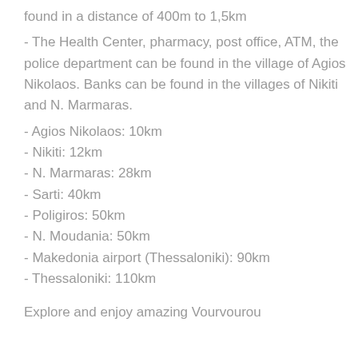found in a distance of 400m to 1,5km
- The Health Center, pharmacy, post office, ATM, the police department can be found in the village of Agios Nikolaos. Banks can be found in the villages of Nikiti and N. Marmaras.
- Agios Nikolaos: 10km
- Nikiti: 12km
- N. Marmaras: 28km
- Sarti: 40km
- Poligiros: 50km
- N. Moudania: 50km
- Makedonia airport (Thessaloniki): 90km
- Thessaloniki: 110km
Explore and enjoy amazing Vourvourou